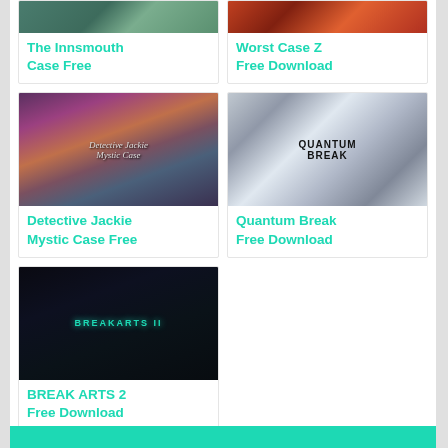[Figure (screenshot): The Innsmouth Case game cover - green toned image (partially visible, top cropped)]
The Innsmouth Case Free
[Figure (screenshot): Worst Case Z game cover - red/fire toned image (partially visible, top cropped)]
Worst Case Z Free Download
[Figure (screenshot): Detective Jackie Mystic Case game cover - animated characters, purple and warm tones]
Detective Jackie Mystic Case Free
[Figure (screenshot): Quantum Break game cover - fragmented glass/time effect with character, silver and blue tones]
Quantum Break Free Download
[Figure (screenshot): BREAK ARTS 2 game cover - robotic mech figure on dark background with teal accents]
BREAK ARTS 2 Free Download